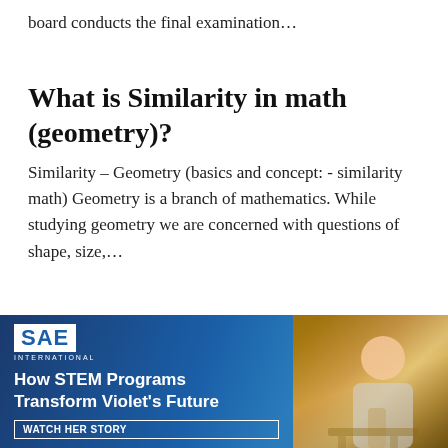board conducts the final examination...
What is Similarity in math (geometry)?
Similarity – Geometry (basics and concept: - similarity math) Geometry is a branch of mathematics. While studying geometry we are concerned with questions of shape, size,...
CBSE Class 12 Maths Syllabus
Here is the CBSE Class 12 Maths Syllabus CLASS XII (Total Periods 180) UNIT I: RELATIONS AND FUNCTIONS Relations and Functions (Periods 10) Types of...
[Figure (advertisement): SAE International advertisement: 'How STEM Programs Transform Violet's Future' with WATCH HER STORY button and image of a child]